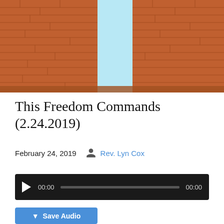[Figure (photo): Photo of ancient brick ruins/columns with light blue sky visible in the center gap between two brick pillars]
This Freedom Commands (2.24.2019)
February 24, 2019   Rev. Lyn Cox
[Figure (other): Audio player bar showing 00:00 / 00:00 with play button and progress bar]
[Figure (other): Save Audio button (blue)]